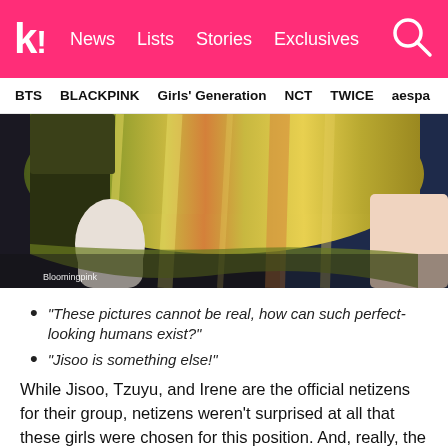k! News  Lists  Stories  Exclusives
BTS  BLACKPINK  Girls' Generation  NCT  TWICE  aespa
[Figure (photo): Close-up photo of a performer wearing a shiny metallic gold/green dress with a dark cuff, holding the skirt. Watermark: Bloomingpink]
“These pictures cannot be real, how can such perfect-looking humans exist?”
“Jisoo is something else!”
While Jisoo, Tzuyu, and Irene are the official netizens for their group, netizens weren’t surprised at all that these girls were chosen for this position. And, really, the girls are stunning!